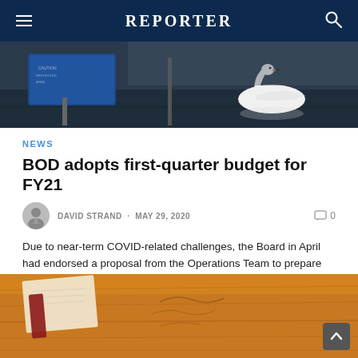REPORTER
[Figure (photo): A swan swimming on dark water near a blue sign/marker post]
NEWS
BOD adopts first-quarter budget for FY21
DAVID STRAND · MAY 29, 2020
Due to near-term COVID-related challenges, the Board in April had endorsed a proposal from the Operations Team to prepare spending forecasts through the end of the current fiscal year and abbreviated budget proposals for just the first quarter of the next.
[Figure (photo): Close-up of a wooden table surface with papers or documents]